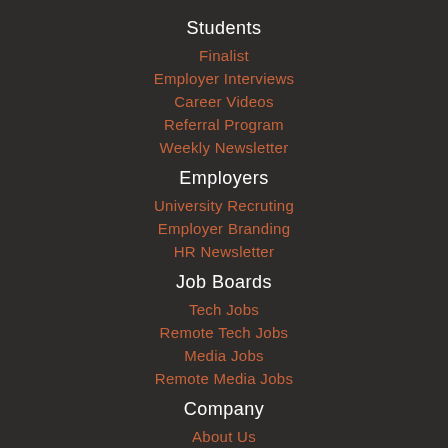Students
Finalist
Employer Interviews
Career Videos
Referral Program
Weekly Newsletter
Employers
University Recruting
Employer Branding
HR Newsletter
Job Boards
Tech Jobs
Remote Tech Jobs
Media Jobs
Remote Media Jobs
Company
About Us